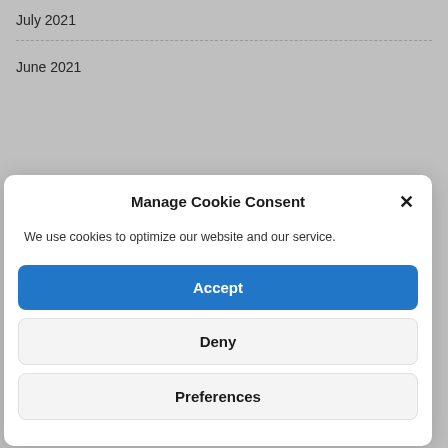July 2021
June 2021
Manage Cookie Consent
We use cookies to optimize our website and our service.
Accept
Deny
Preferences
December 2020
November 2020